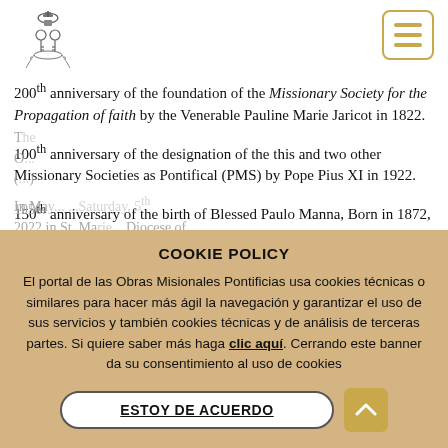Vatican Missionary Society logo and navigation menu
200th anniversary of the foundation of the Missionary Society for the Propagation of faith by the Venerable Pauline Marie Jaricot in 1822.
100th anniversary of the designation of the this and two other Missionary Societies as Pontifical (PMS) by Pope Pius XI in 1922.
150th anniversary of the birth of Blessed Paulo Manna, Born in 1872, founder of the Missionary Union (PMU), which was designated Pontifical by Pope Pius XII in 1956.
In May... 2022 in St. Marie... Diocese of Dedza, celebrating... Life PMU Day.
COOKIE POLICY
El portal de las Obras Misionales Pontificias usa cookies técnicas o similares para hacer más ágil la navegación y garantizar el uso de sus servicios y también cookies técnicas y de análisis de terceras partes. Si quiere saber más haga clic aquí. Cerrando este banner da su consentimiento al uso de cookies
ESTOY DE ACUERDO